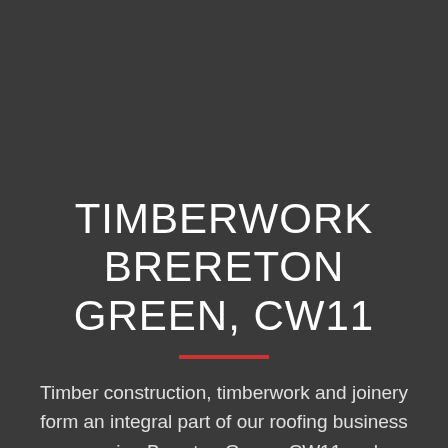TIMBERWORK BRERETON GREEN, CW11
Timber construction, timberwork and joinery form an integral part of our roofing business covering Brereton Green, CW11 and surrounding areas. We're highly skilled and do an efficient job.